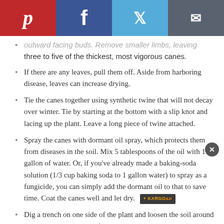[Figure (other): Social share bar with Pinterest (red), Facebook (dark blue), Twitter (light blue), and Email (dark grey) buttons]
outward facing buds. Remove smaller limbs, leaving three to five of the thickest, most vigorous canes.
If there are any leaves, pull them off. Aside from harboring disease, leaves can increase drying.
Tie the canes together using synthetic twine that will not decay over winter. Tie by starting at the bottom with a slip knot and lacing up the plant. Leave a long piece of twine attached.
Spray the canes with dormant oil spray, which protects them from diseases in the soil. Mix 5 tablespoons of the oil with 1 gallon of water. Or, if you've already made a baking-soda solution (1/3 cup baking soda to 1 gallon water) to spray as a fungicide, you can simply add the dormant oil to that to save time. Coat the canes well and let dry.
Dig a trench on one side of the plant and loosen the soil around the roots using a garden fork to minimize root damage.